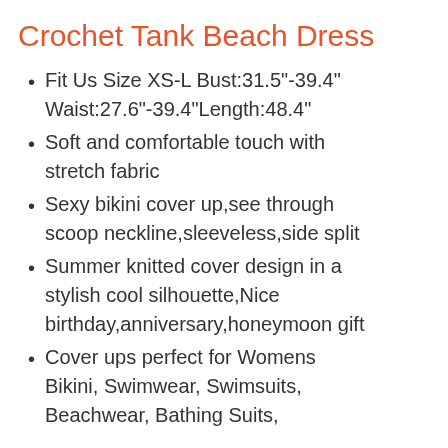Crochet Tank Beach Dress
Fit Us Size XS-L Bust:31.5"-39.4" Waist:27.6"-39.4"Length:48.4"
Soft and comfortable touch with stretch fabric
Sexy bikini cover up,see through scoop neckline,sleeveless,side split
Summer knitted cover design in a stylish cool silhouette,Nice birthday,anniversary,honeymoon gift
Cover ups perfect for Womens Bikini, Swimwear, Swimsuits, Beachwear, Bathing Suits,